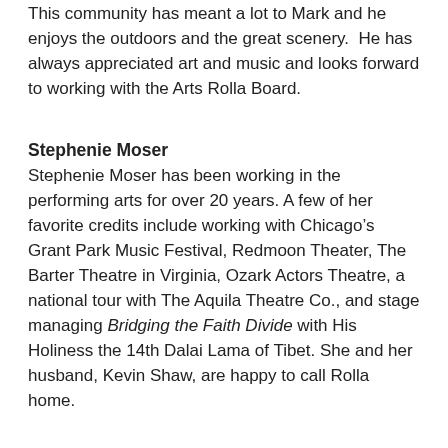This community has meant a lot to Mark and he enjoys the outdoors and the great scenery.  He has always appreciated art and music and looks forward to working with the Arts Rolla Board.
Stephenie Moser
Stephenie Moser has been working in the performing arts for over 20 years. A few of her favorite credits include working with Chicago’s Grant Park Music Festival, Redmoon Theater, The Barter Theatre in Virginia, Ozark Actors Theatre, a national tour with The Aquila Theatre Co., and stage managing Bridging the Faith Divide with His Holiness the 14th Dalai Lama of Tibet. She and her husband, Kevin Shaw, are happy to call Rolla home.
Tishia Gibson-Tsiptsis
Falling in love with Missouri's rolling hills, vast wildlife and Blue Ribbon schools, Tishia and her two children decided to make Rolla their home 18 years ago.  She is a